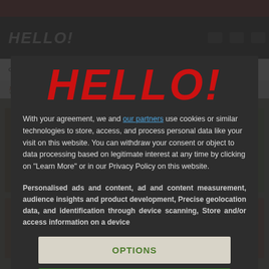[Figure (screenshot): HELLO! magazine website screenshot showing navigation bar with CELEBRITIES, HOMES, FOOD categories and food content in background]
[Figure (logo): HELLO! magazine logo in large red bold italic text centered in modal dialog]
With your agreement, we and our partners use cookies or similar technologies to store, access, and process personal data like your visit on this website. You can withdraw your consent or object to data processing based on legitimate interest at any time by clicking on "Learn More" or in our Privacy Policy on this website.
Personalised ads and content, ad and content measurement, audience insights and product development, Precise geolocation data, and identification through device scanning, Store and/or access information on a device
OPTIONS
I AGREE